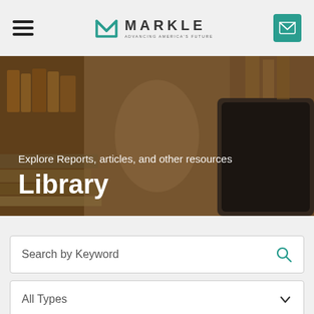[Figure (logo): Markle Foundation logo with teal M icon and MARKLE wordmark with tagline ADVANCING AMERICA'S FUTURE]
[Figure (photo): Hero banner showing a library with bookshelves and a laptop/tablet, warm brown tones, blurred depth of field]
Explore Reports, articles, and other resources
Library
Search by Keyword
All Types